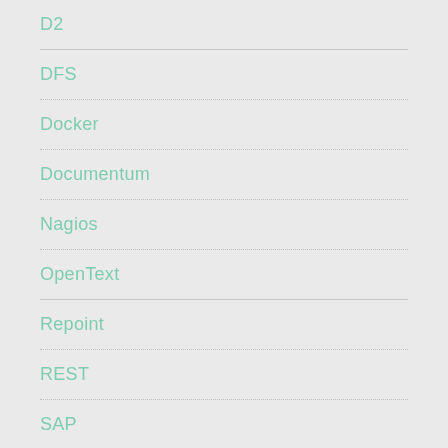D2
DFS
Docker
Documentum
Nagios
OpenText
Repoint
REST
SAP
Support